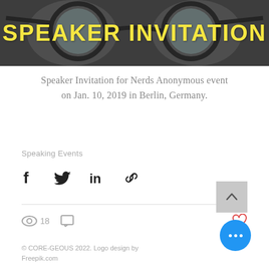[Figure (photo): Banner image with dark background showing glasses, overlaid with bold yellow text 'SPEAKER INVITATION']
Speaker Invitation for Nerds Anonymous event on Jan. 10, 2019 in Berlin, Germany.
Speaking Events
[Figure (other): Social share icons: Facebook, Twitter, LinkedIn, and link/copy icon]
[Figure (other): View count (18), comment icon, and heart/like icon]
© CORE-GEOUS 2022. Logo design by Freepik.com